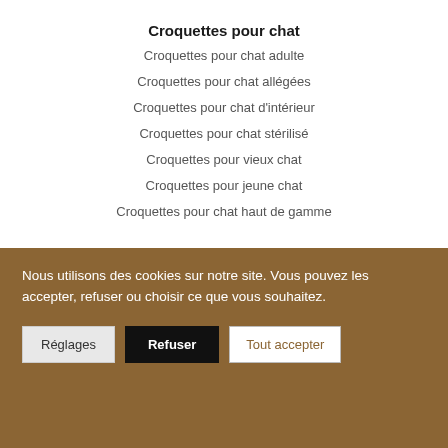Croquettes pour chat
Croquettes pour chat adulte
Croquettes pour chat allégées
Croquettes pour chat d'intérieur
Croquettes pour chat stérilisé
Croquettes pour vieux chat
Croquettes pour jeune chat
Croquettes pour chat haut de gamme
Accessoires
Anti aboiement
Anti fugue
Nous utilisons des cookies sur notre site. Vous pouvez les accepter, refuser ou choisir ce que vous souhaitez.